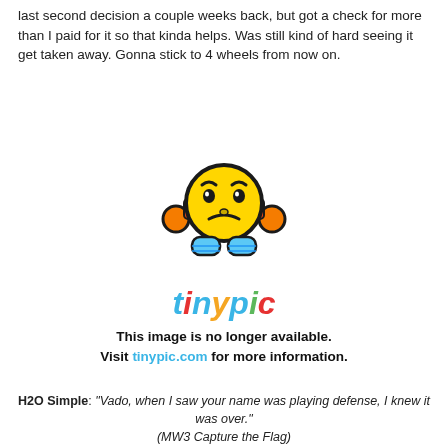last second decision a couple weeks back, but got a check for more than I paid for it so that kinda helps. Was still kind of hard seeing it get taken away. Gonna stick to 4 wheels from now on.
[Figure (illustration): Tinypic placeholder image showing a sad yellow emoji face with orange headphones and blue hands, with the tinypic logo and text 'This image is no longer available. Visit tinypic.com for more information.']
H2O Simple: "Vado, when I saw your name was playing defense, I knew it was over." (MW3 Capture the Flag)